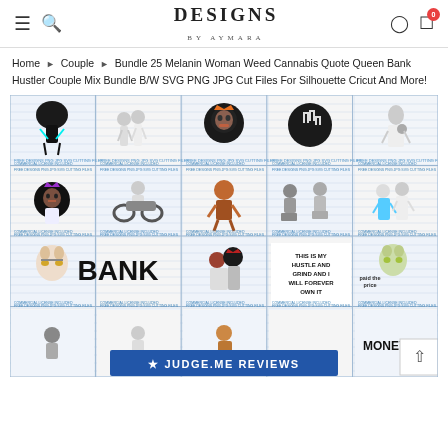Designs By Aymara — navigation header with hamburger, search, logo, user, and cart icons
Home ▶ Couple ▶ Bundle 25 Melanin Woman Weed Cannabis Quote Queen Bank Hustler Couple Mix Bundle B/W SVG PNG JPG Cut Files For Silhouette Cricut And More!
[Figure (photo): 5×4 grid of design thumbnail images for the Bundle 25 product, each in a blue dashed filmstrip-style border. Designs include afro women, couples, animals, text-based designs like BANK, and various illustrated characters. A blue Judge.me Reviews banner overlays the bottom center of the image grid.]